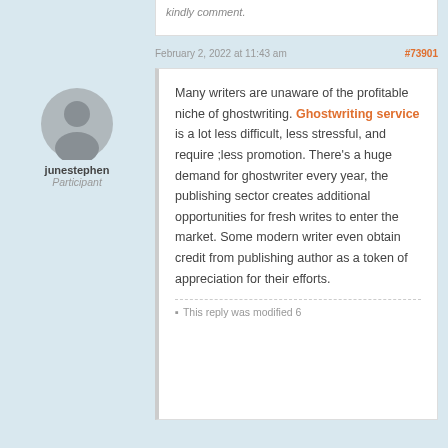kindly comment.
February 2, 2022 at 11:43 am
#73901
[Figure (illustration): Default user avatar — circular grey silhouette of a person]
junestephen
Participant
Many writers are unaware of the profitable niche of ghostwriting. Ghostwriting service is a lot less difficult, less stressful, and require ;less promotion. There's a huge demand for ghostwriter every year, the publishing sector creates additional opportunities for fresh writes to enter the market. Some modern writer even obtain credit from publishing author as a token of appreciation for their efforts.
This reply was modified 6